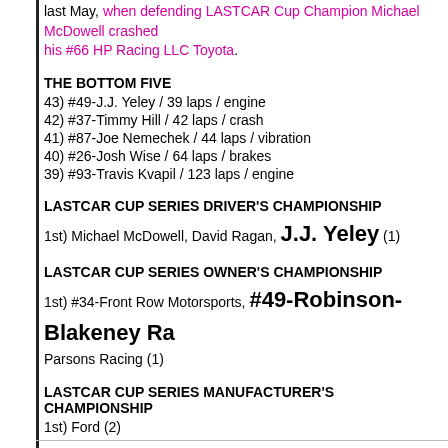last May, when defending LASTCAR Cup Champion Michael McDowell crashed his #66 HP Racing LLC Toyota.
THE BOTTOM FIVE
43) #49-J.J. Yeley / 39 laps / engine
42) #37-Timmy Hill / 42 laps / crash
41) #87-Joe Nemechek / 44 laps / vibration
40) #26-Josh Wise / 64 laps / brakes
39) #93-Travis Kvapil / 123 laps / engine
LASTCAR CUP SERIES DRIVER'S CHAMPIONSHIP
1st) Michael McDowell, David Ragan, J.J. Yeley (1)
LASTCAR CUP SERIES OWNER'S CHAMPIONSHIP
1st) #34-Front Row Motorsports, #49-Robinson-Blakeney Racing, Parsons Racing (1)
LASTCAR CUP SERIES MANUFACTURER'S CHAMPIONSHIP
1st) Ford (2)
2nd) Toyota (1)
Posted by Brock Beard at 5:42 PM    No comments: